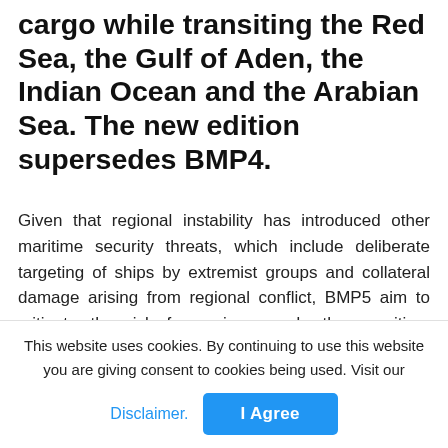cargo while transiting the Red Sea, the Gulf of Aden, the Indian Ocean and the Arabian Sea. The new edition supersedes BMP4.
Given that regional instability has introduced other maritime security threats, which include deliberate targeting of ships by extremist groups and collateral damage arising from regional conflict, BMP5 aim to mitigate the risk from piracy and other maritime security threats. Additionally, along with BMP5 publication, a Global Counter Piracy Guidance  is now available for companies, masters and seafarers as well as updated guidelines (version 3) for operators
This website uses cookies. By continuing to use this website you are giving consent to cookies being used. Visit our